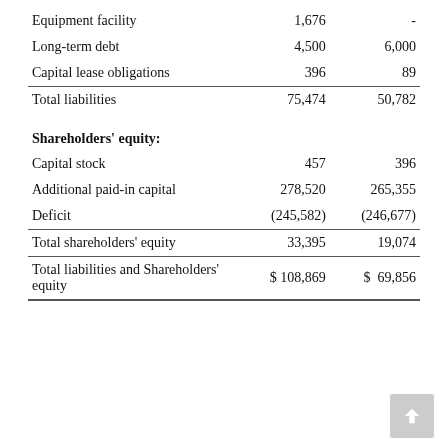|  |  |  |
| --- | --- | --- |
| Equipment facility | 1,676 | - |
| Long-term debt | 4,500 | 6,000 |
| Capital lease obligations | 396 | 89 |
| Total liabilities | 75,474 | 50,782 |
| Shareholders' equity: |  |  |
| Capital stock | 457 | 396 |
| Additional paid-in capital | 278,520 | 265,355 |
| Deficit | (245,582) | (246,677) |
| Total shareholders' equity | 33,395 | 19,074 |
| Total liabilities and Shareholders' equity | $ 108,869 | $  69,856 |